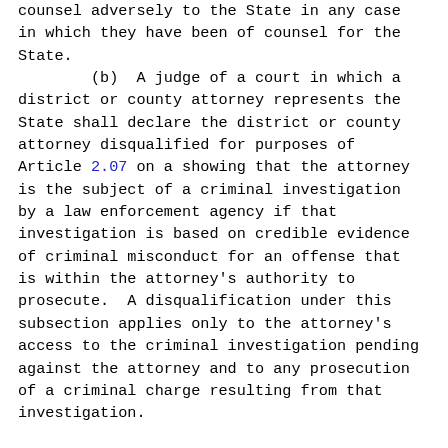counsel adversely to the State in any case in which they have been of counsel for the State.
        (b)  A judge of a court in which a district or county attorney represents the State shall declare the district or county attorney disqualified for purposes of Article 2.07 on a showing that the attorney is the subject of a criminal investigation by a law enforcement agency if that investigation is based on credible evidence of criminal misconduct for an offense that is within the attorney's authority to prosecute.  A disqualification under this subsection applies only to the attorney's access to the criminal investigation pending against the attorney and to any prosecution of a criminal charge resulting from that investigation.